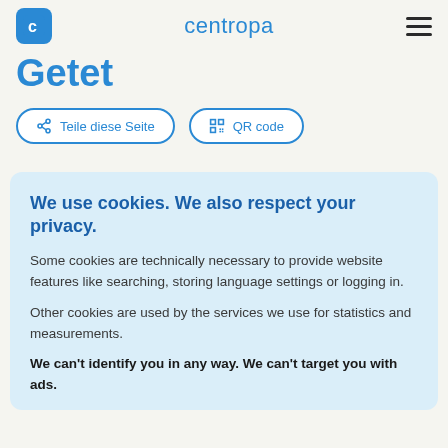centropa
Getet
Teile diese Seite   QR code
We use cookies. We also respect your privacy.
Some cookies are technically necessary to provide website features like searching, storing language settings or logging in.
Other cookies are used by the services we use for statistics and measurements.
We can't identify you in any way. We can't target you with ads.